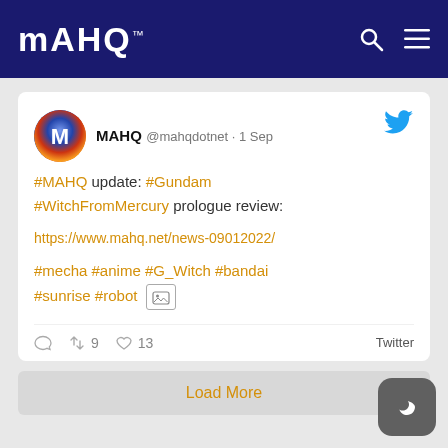MAHQ
[Figure (screenshot): Tweet from MAHQ (@mahqdotnet) on 1 Sep: #MAHQ update: #Gundam #WitchFromMercury prologue review: https://www.mahq.net/news-09012022/ #mecha #anime #G_Witch #bandai #sunrise #robot [image icon]. Stats: 9 retweets, 13 likes. Source: Twitter]
Load More